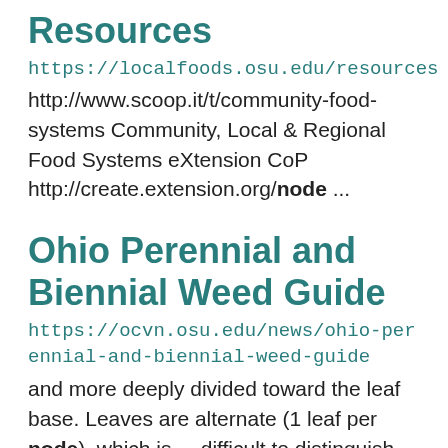Resources
https://localfoods.osu.edu/resources
http://www.scoop.it/t/community-food-systems Community, Local & Regional Food Systems eXtension CoP http://create.extension.org/node ...
Ohio Perennial and Biennial Weed Guide
https://ocvn.osu.edu/news/ohio-perennial-and-biennial-weed-guide
and more deeply divided toward the leaf base. Leaves are alternate (1 leaf per node), which is ... difficult to distinguish because stems are so compressed that